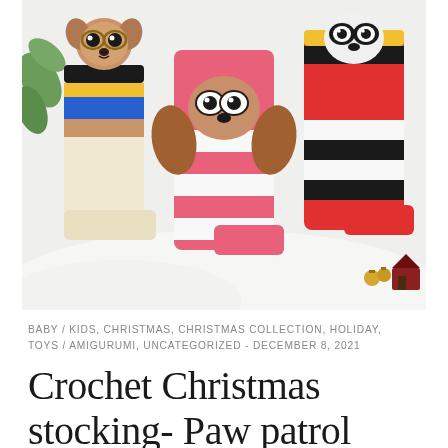[Figure (photo): Three crocheted Christmas stockings displayed on a white fluffy surface with green leaves in the background. Left stocking has a chihuahua face with stripes in blue, yellow, tan and cream. Center stocking is pink and white striped with a brown dog face and floppy ears. Right stocking has a panda/dalmatian face with red, black, and white stripes and a yellow stripe. Small gold bells and a miniature Christmas house visible in bottom right.]
BABY / KIDS, CHRISTMAS, CHRISTMAS COLLECTION, HOLIDAY, TOYS / AMIGURUMI, UNCATEGORIZED - DECEMBER 8, 2021
Crochet Christmas stocking- Paw patrol